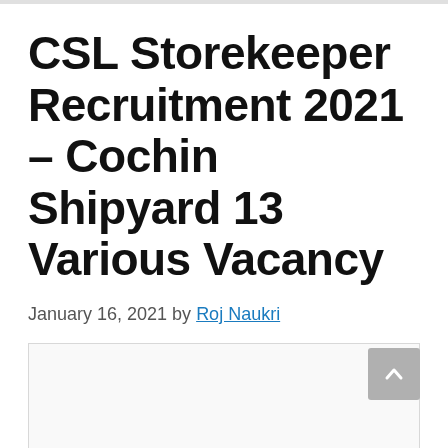CSL Storekeeper Recruitment 2021 – Cochin Shipyard 13 Various Vacancy
January 16, 2021 by Roj Naukri
[Figure (other): Advertisement banner placeholder box]
Hello friends, In this article we will know about recruitment in Cochin Shipyard Limited